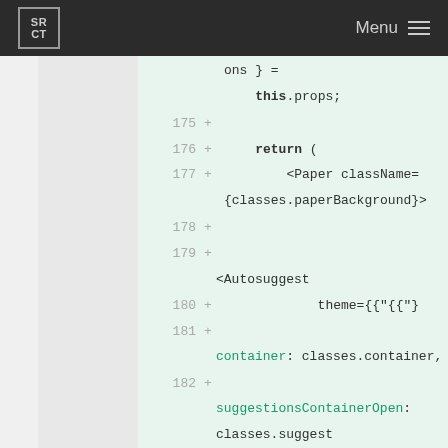SRCT  Menu
[Figure (screenshot): Code diff view showing lines 175-182 of a React component with JSX markup including Paper and Autosuggest components, highlighted in light green as added lines]